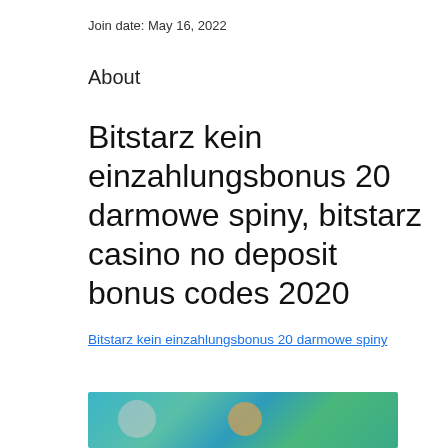Join date: May 16, 2022
About
Bitstarz kein einzahlungsbonus 20 darmowe spiny, bitstarz casino no deposit bonus codes 2020
Bitstarz kein einzahlungsbonus 20 darmowe spiny
[Figure (photo): Blurred casino-themed image with colorful background and silhouetted figures]